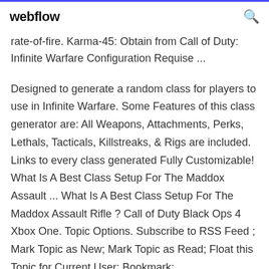webflow
rate-of-fire. Karma-45: Obtain from Call of Duty: Infinite Warfare Configuration Requise ...
Designed to generate a random class for players to use in Infinite Warfare. Some Features of this class generator are: All Weapons, Attachments, Perks, Lethals, Tacticals, Killstreaks, & Rigs are included. Links to every class generated Fully Customizable! What Is A Best Class Setup For The Maddox Assault ... What Is A Best Class Setup For The Maddox Assault Rifle ? Call of Duty Black Ops 4 Xbox One. Topic Options. Subscribe to RSS Feed ; Mark Topic as New; Mark Topic as Read; Float this Topic for Current User; Bookmark;